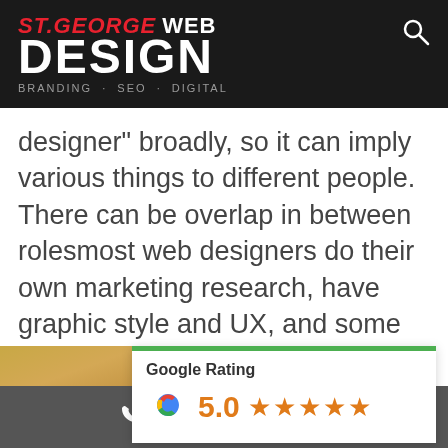[Figure (logo): ST.GEORGE WEB DESIGN logo with tagline BRANDING · SEO · DIGITAL on dark background]
designer" broadly, so it can imply various things to different people. There can be overlap in between rolesmost web designers do their own marketing research, have graphic style and UX, and some can even double as developers (especially on the front end).
[Figure (other): Google Rating 5.0 with five orange stars and Google G logo, with green top border]
0404 084 847